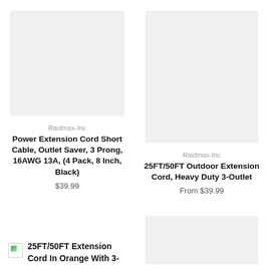[Figure (photo): Product image placeholder box, light gray, for Power Extension Cord]
Raidmax-Inc
Power Extension Cord Short Cable, Outlet Saver, 3 Prong, 16AWG 13A, (4 Pack, 8 Inch, Black)
$39.99
[Figure (photo): Product image placeholder box, light gray, for 25FT/50FT Outdoor Extension Cord]
Raidmax-Inc
25FT/50FT Outdoor Extension Cord, Heavy Duty 3-Outlet
From $39.99
[Figure (photo): Broken image icon for 25FT/50FT Extension Cord In Orange With 3-]
25FT/50FT Extension Cord In Orange With 3-
[Figure (photo): Product image placeholder box, light gray, bottom right]